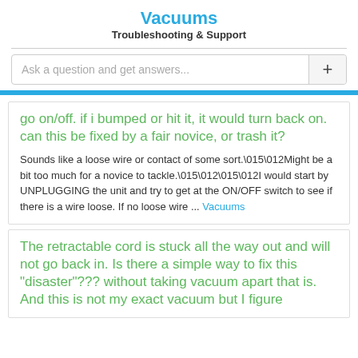Vacuums
Troubleshooting & Support
Ask a question and get answers...
go on/off. if i bumped or hit it, it would turn back on. can this be fixed by a fair novice, or trash it?
Sounds like a loose wire or contact of some sort.\015\012Might be a bit too much for a novice to tackle.\015\012\015\012I would start by UNPLUGGING the unit and try to get at the ON/OFF switch to see if there is a wire loose. If no loose wire ... Vacuums
The retractable cord is stuck all the way out and will not go back in. Is there a simple way to fix this "disaster"??? without taking vacuum apart that is. And this is not my exact vacuum but I figure